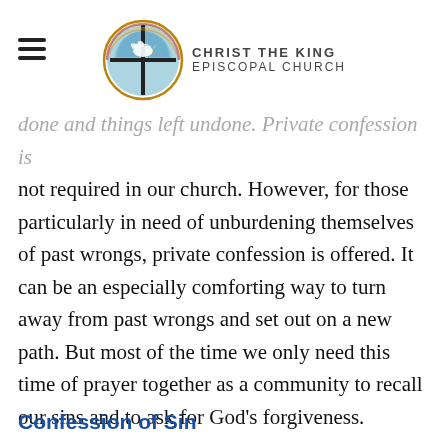Christ the King Episcopal Church
done and things left undone. Private confession is not required in our church. However, for those particularly in need of unburdening themselves of past wrongs, private confession is offered. It can be an especially comforting way to turn away from past wrongs and set out on a new path. But most of the time we only need this time of prayer together as a community to recall our sins and to ask for God's forgiveness.
Confession of Sin